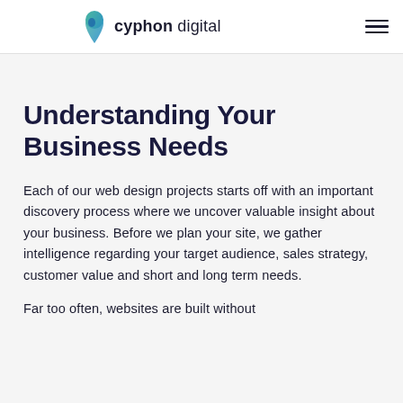cyphon digital
Understanding Your Business Needs
Each of our web design projects starts off with an important discovery process where we uncover valuable insight about your business. Before we plan your site, we gather intelligence regarding your target audience, sales strategy, customer value and short and long term needs.
Far too often, websites are built without